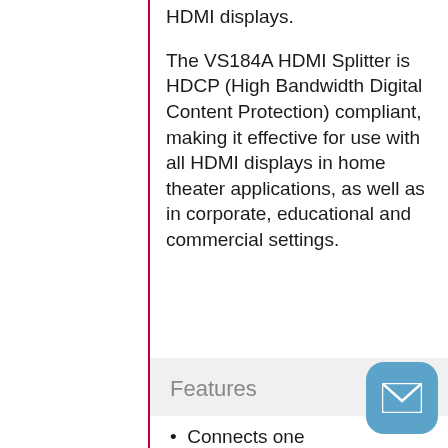HDMI displays.
The VS184A HDMI Splitter is HDCP (High Bandwidth Digital Content Protection) compliant, making it effective for use with all HDMI displays in home theater applications, as well as in corporate, educational and commercial settings.
Features
Connects one